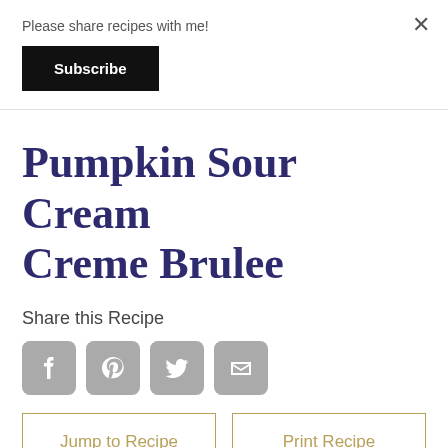Please share recipes with me!
Subscribe
Pumpkin Sour Cream Creme Brulee
Share this Recipe
[Figure (other): Social sharing icons: Facebook, Pinterest, Twitter, Email]
Jump to Recipe
Print Recipe
Maybe you have a guest who isn't a pie lover.  Pumpkin Sour Cream Creme Brulee